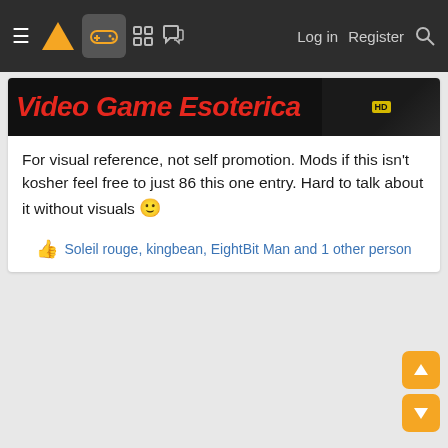Navigation bar with menu, logo, gamepad icon, grid icon, chat icon, Log in, Register, Search
[Figure (screenshot): Banner image for 'Video Game Esoterica' in bold red italic text on dark background, with a dark image panel on the right]
For visual reference, not self promotion. Mods if this isn't kosher feel free to just 86 this one entry. Hard to talk about it without visuals 🙂
Soleil rouge, kingbean, EightBit Man and 1 other person